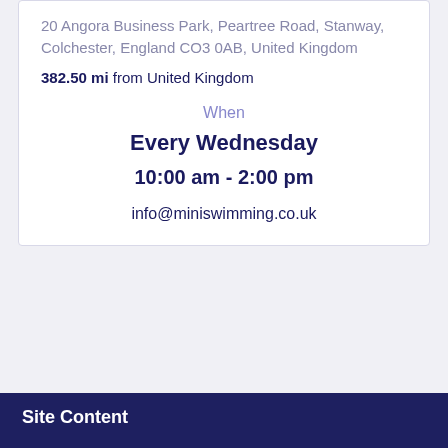20 Angora Business Park, Peartree Road, Stanway, Colchester, England CO3 0AB, United Kingdom
382.50 mi from United Kingdom
When
Every Wednesday
10:00 am - 2:00 pm
info@miniswimming.co.uk
Site Content